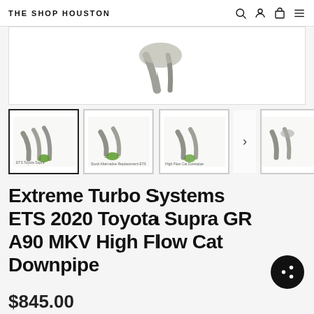THE SHOP HOUSTON
[Figure (photo): Product photo of ETS downpipe/exhaust components, partially visible at top of main image area]
[Figure (photo): Thumbnail 1: Multiple ETS downpipe components grouped]
[Figure (photo): Thumbnail 2: ETS downpipe with green cap]
[Figure (photo): Thumbnail 3: ETS downpipe components]
[Figure (photo): Thumbnail 4: ETS downpipe partial view]
Extreme Turbo Systems ETS 2020 Toyota Supra GR A90 MKV High Flow Cat Downpipe
$845.00